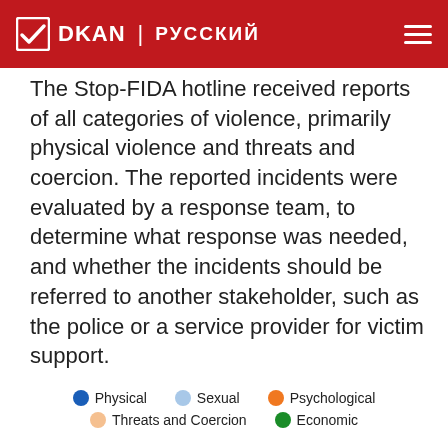DKAN | РУССКИЙ
The Stop-FIDA hotline received reports of all categories of violence, primarily physical violence and threats and coercion. The reported incidents were evaluated by a response team, to determine what response was needed, and whether the incidents should be referred to another stakeholder, such as the police or a service provider for victim support.
[Figure (other): Download CSV button]
[Figure (infographic): Legend showing violence categories: Physical (blue dot), Sexual (light blue dot), Psychological (orange dot), Threats and Coercion (peach dot), Economic (green dot)]